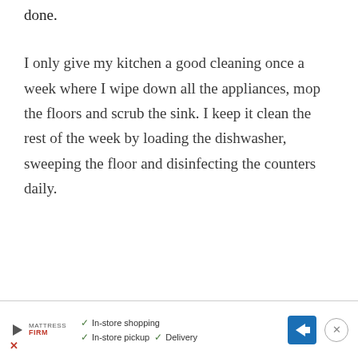done.
I only give my kitchen a good cleaning once a week where I wipe down all the appliances, mop the floors and scrub the sink. I keep it clean the rest of the week by loading the dishwasher, sweeping the floor and disinfecting the counters daily.
[Figure (other): Advertisement banner for Mattress Firm showing in-store shopping, in-store pickup, and delivery options with a navigation arrow icon and close button.]